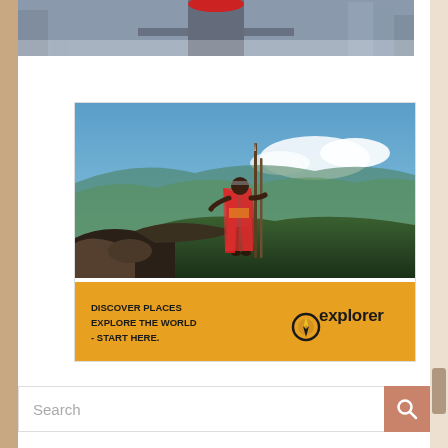[Figure (photo): Partial view of a person with outstretched arms against a city skyline backdrop, cropped at the top of the page]
[Figure (illustration): Advertisement image: Maasai warrior in red cloak standing on cliff overlooking a green valley/canyon under blue sky. Below the photo is an orange banner with text 'DISCOVER PLACES EXPLORE THE WORLD - START HERE.' and the 'explorer world' logo with a compass icon.]
DISCOVER PLACES EXPLORE THE WORLD - START HERE.
explorer world
Search